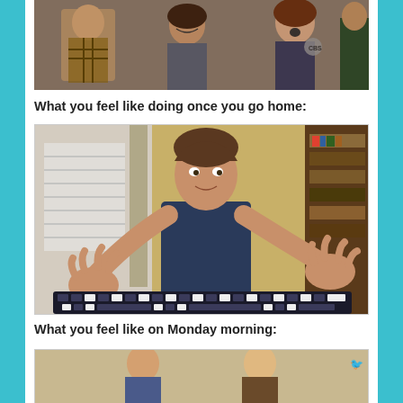[Figure (photo): Top portion of a photo showing people with surprised/excited expressions, partially cropped at top of page]
What you feel like doing once you go home:
[Figure (photo): A man (Jim Carrey) leaning over a keyboard with hands outstretched dramatically toward the camera, in a home office setting]
What you feel like on Monday morning:
[Figure (photo): Partially visible photo at bottom of page, showing people in what appears to be an office or indoor setting]